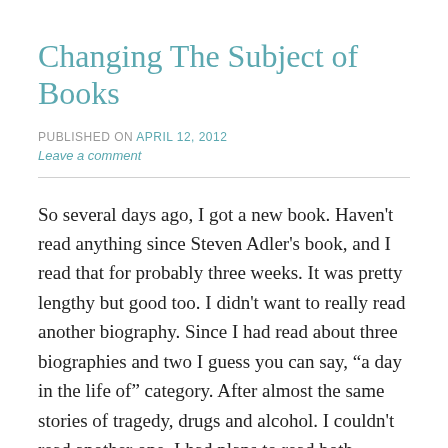Changing The Subject of Books
PUBLISHED ON April 12, 2012
Leave a comment
So several days ago, I got a new book. Haven't read anything since Steven Adler's book, and I read that for probably three weeks. It was pretty lengthy but good too. I didn't want to really read another biography. Since I had read about three biographies and two I guess you can say, “a day in the life of” category. After almost the same stories of tragedy, drugs and alcohol. I couldn't read another one. I had plans to read both Motley Crue’s confession book, The Dirt. I had also wanted to read Tommy Lee's boo, Tommy Land. After I read Steven's I